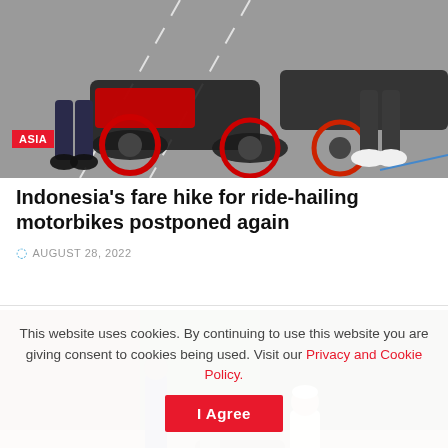[Figure (photo): Aerial or overhead view of motorcycles/motorbikes parked on a street, with people's feet and legs visible, red and black bikes prominent]
ASIA
Indonesia's fare hike for ride-hailing motorbikes postponed again
AUGUST 28, 2022
[Figure (photo): Flood scene with people wading through brown floodwater near a brick building, trees visible in background]
This website uses cookies. By continuing to use this website you are giving consent to cookies being used. Visit our Privacy and Cookie Policy.